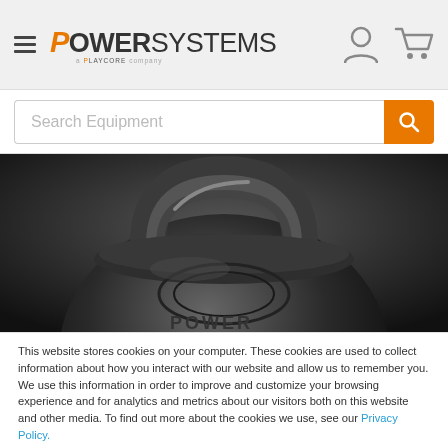POWER SYSTEMS — a Playcore company
[Figure (photo): Close-up photo of a black kettlebell weight, viewed from above showing the handle and top of the bell]
This website stores cookies on your computer. These cookies are used to collect information about how you interact with our website and allow us to remember you. We use this information in order to improve and customize your browsing experience and for analytics and metrics about our visitors both on this website and other media. To find out more about the cookies we use, see our Privacy Policy.